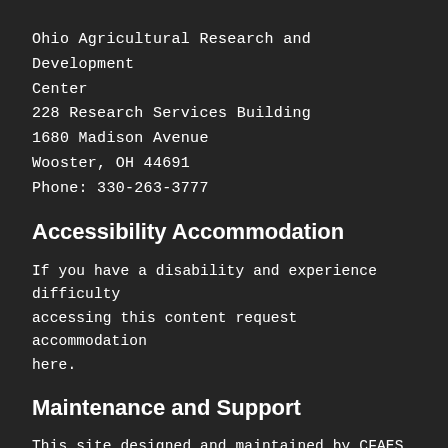Ohio Agricultural Research and Development Center
228 Research Services Building
1680 Madison Avenue
Wooster, OH 44691
Phone: 330-263-3777
Accessibility Accommodation
If you have a disability and experience difficulty accessing this content request accommodation here.
Maintenance and Support
This site designed and maintained by CFAES Marketing and Communications. For technical support please contact the CFAES Helpdesk.